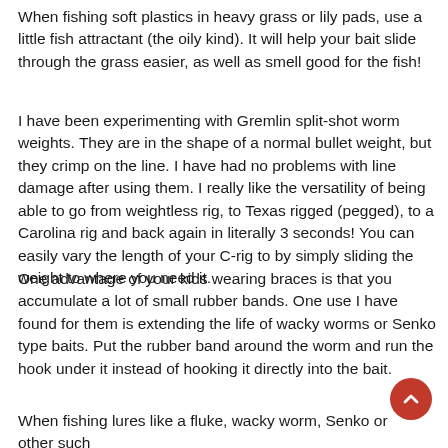When fishing soft plastics in heavy grass or lily pads, use a little fish attractant (the oily kind). It will help your bait slide through the grass easier, as well as smell good for the fish!
I have been experimenting with Gremlin split-shot worm weights. They are in the shape of a normal bullet weight, but they crimp on the line. I have had no problems with line damage after using them. I really like the versatility of being able to go from weightless rig, to Texas rigged (pegged), to a Carolina rig and back again in literally 3 seconds! You can easily vary the length of your C-rig to by simply sliding the weight to where you need it.
One advantage of your kids wearing braces is that you accumulate a lot of small rubber bands. One use I have found for them is extending the life of wacky worms or Senko type baits. Put the rubber band around the worm and run the hook under it instead of hooking it directly into the bait.
When fishing lures like a fluke, wacky worm, Senko or other such...